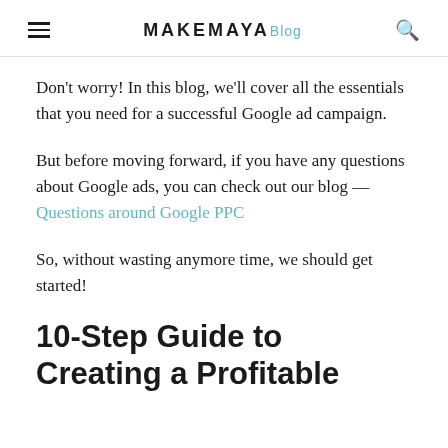MAKEMAYA Blog
Don't worry! In this blog, we'll cover all the essentials that you need for a successful Google ad campaign.
But before moving forward, if you have any questions about Google ads, you can check out our blog — Questions around Google PPC
So, without wasting anymore time, we should get started!
10-Step Guide to Creating a Profitable